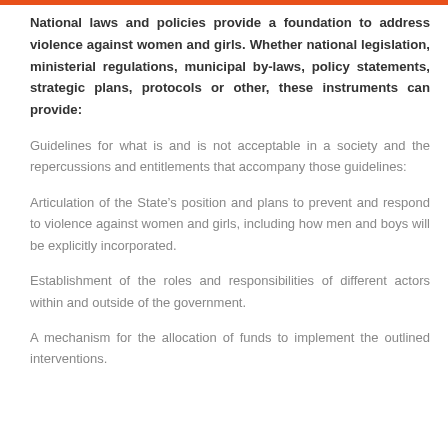National laws and policies provide a foundation to address violence against women and girls. Whether national legislation, ministerial regulations, municipal by-laws, policy statements, strategic plans, protocols or other, these instruments can provide:
Guidelines for what is and is not acceptable in a society and the repercussions and entitlements that accompany those guidelines:
Articulation of the State's position and plans to prevent and respond to violence against women and girls, including how men and boys will be explicitly incorporated.
Establishment of the roles and responsibilities of different actors within and outside of the government.
A mechanism for the allocation of funds to implement the outlined interventions.